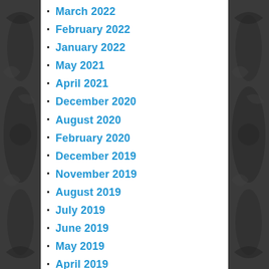March 2022
February 2022
January 2022
May 2021
April 2021
December 2020
August 2020
February 2020
December 2019
November 2019
August 2019
July 2019
June 2019
May 2019
April 2019
March 2019
February 2019
January 2019
December 2018
November 2018
October 2018
September 2018